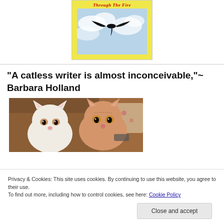[Figure (illustration): Book cover with yellow background, red italic cursive title text reading 'Through The Fire' and a bird silhouette flying against a cloudy sky]
“A catless writer is almost inconceivable,”~ Barbara Holland
[Figure (photo): Two cats, one white and one orange/tan, sitting on a brown couch looking at the camera]
Privacy & Cookies: This site uses cookies. By continuing to use this website, you agree to their use.
To find out more, including how to control cookies, see here: Cookie Policy
Close and accept